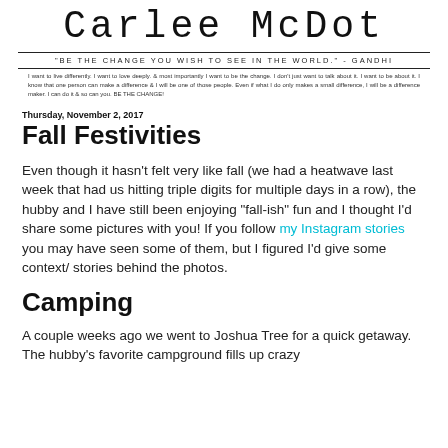Carlee McDot
"BE THE CHANGE YOU WISH TO SEE IN THE WORLD." - GANDHI
I want to live differently. I want to love deeply. & most importantly I want to be the change. I don't just want to talk about it. I want to be about it. I know that one person can make a difference & I will be one of those people. Even if what I do only makes a small difference, I will be a difference maker. I can do it & so can you. BE THE CHANGE!
Thursday, November 2, 2017
Fall Festivities
Even though it hasn't felt very like fall (we had a heatwave last week that had us hitting triple digits for multiple days in a row), the hubby and I have still been enjoying "fall-ish" fun and I thought I'd share some pictures with you! If you follow my Instagram stories you may have seen some of them, but I figured I'd give some context/ stories behind the photos.
Camping
A couple weeks ago we went to Joshua Tree for a quick getaway. The hubby's favorite campground fills up crazy